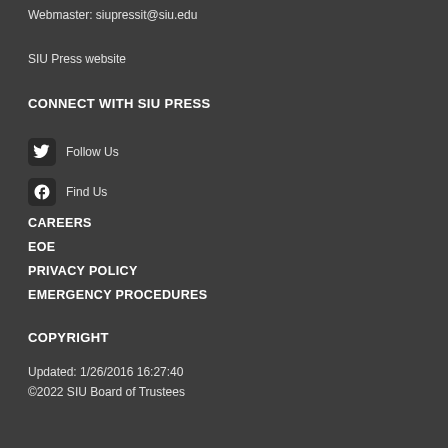Webmaster: siupressit@siu.edu
SIU Press website
CONNECT WITH SIU PRESS
Follow Us
Find Us
CAREERS
EOE
PRIVACY POLICY
EMERGENCY PROCEDURES
COPYRIGHT
Updated: 1/26/2016 16:27:40
©2022 SIU Board of Trustees